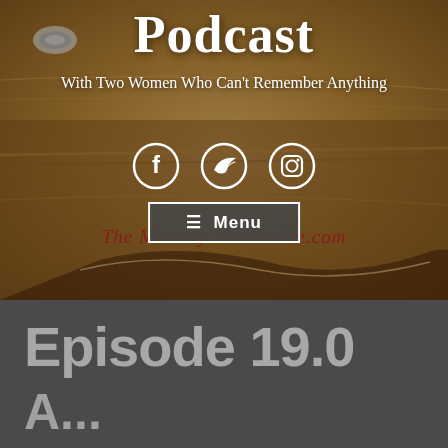[Figure (photo): Hero banner showing a worn leather-bound book with metal rings, warm brown tones. Website background image for a book podcast.]
Podcast
With Two Women Who Can't Remember Anything
[Figure (infographic): Social media icons: Facebook, Twitter, Instagram — white circle icons on the hero image background.]
The Memory Warehouse.com
≡  Menu
Episode 19.0
A...